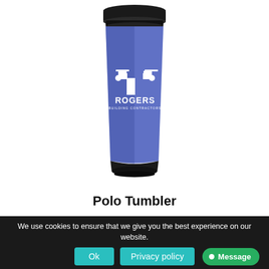[Figure (photo): Blue Rogers Building Contractors branded Polo Tumbler travel mug with black lid and black base]
Polo Tumbler
We use cookies to ensure that we give you the best experience on our website.
Ok | Privacy policy | × | Message